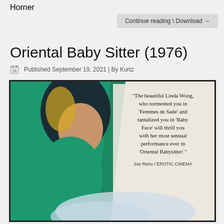Horner
Continue reading \ Download →
Oriental Baby Sitter (1976)
Published September 19, 2021 | By Kurtz
[Figure (illustration): Movie poster for 'Oriental Baby Sitter' (1976) showing an illustrated woman in a green outfit, with quote: '"The beautiful Linda Wong, who tormented you in 'Femmes de Sade' and tantalized you in 'Baby Face' will thrill you with her most sensual performance ever in 'Oriental Babysitter'." Joe Reno / EROTIC CINEMA]